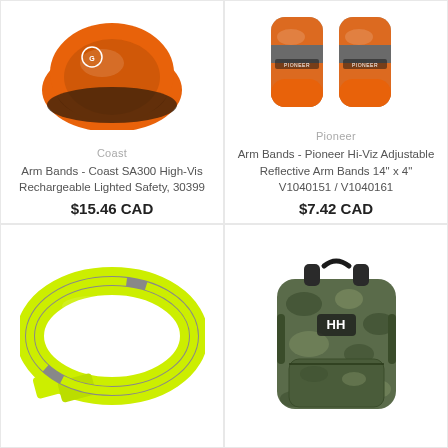[Figure (photo): Orange high-vis arm band / safety light product by Coast, partially cropped at top]
Coast
Arm Bands - Coast SA300 High-Vis Rechargeable Lighted Safety, 30399
$15.46 CAD
[Figure (photo): Orange and grey reflective arm bands pair by Pioneer, partially cropped at top]
Pioneer
Arm Bands - Pioneer Hi-Viz Adjustable Reflective Arm Bands 14" x 4" V1040151 / V1040161
$7.42 CAD
[Figure (photo): Neon yellow/green reflective snap arm band]
[Figure (photo): Camouflage HH Helly Hansen backpack]